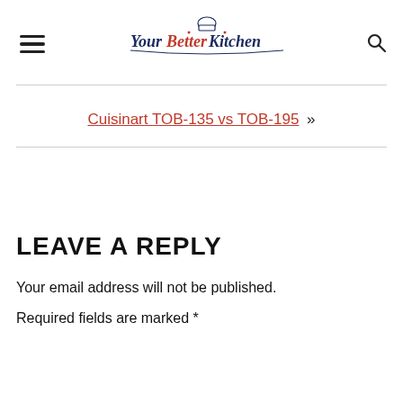[Figure (logo): Your Better Kitchen logo with chef hat icon, blue and red script lettering]
Cuisinart TOB-135 vs TOB-195 »
LEAVE A REPLY
Your email address will not be published. Required fields are marked *